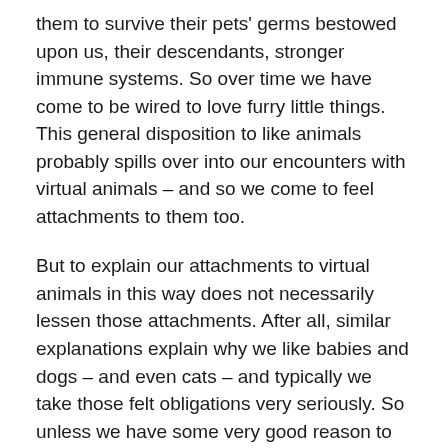them to survive their pets' germs bestowed upon us, their descendants, stronger immune systems. So over time we have come to be wired to love furry little things. This general disposition to like animals probably spills over into our encounters with virtual animals – and so we come to feel attachments to them too.
But to explain our attachments to virtual animals in this way does not necessarily lessen those attachments. After all, similar explanations explain why we like babies and dogs – and even cats – and typically we take those felt obligations very seriously. So unless we have some very good reason to overrule the concerns we naturally feel for virtual animals, we should take those obligations seriously as well. But here is a very good reason to overrule these concerns we feel: unlike real dogs and cats, virtual dogs and cats don't actually feel anything. They are not any